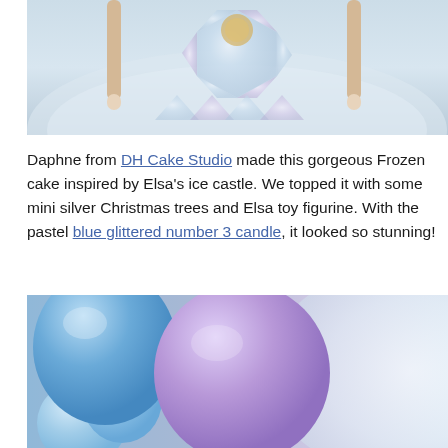[Figure (photo): Top-down view of a decorative Frozen-themed cake or plate with iridescent star/hexagon paper craft pieces and wooden sticks on a white/light blue surface.]
Daphne from DH Cake Studio made this gorgeous Frozen cake inspired by Elsa's ice castle. We topped it with some mini silver Christmas trees and Elsa toy figurine. With the pastel blue glittered number 3 candle, it looked so stunning!
[Figure (photo): Close-up photo of blue and purple/lavender balloons in various sizes arranged together, with a snowy or sparkly white element on the right side.]